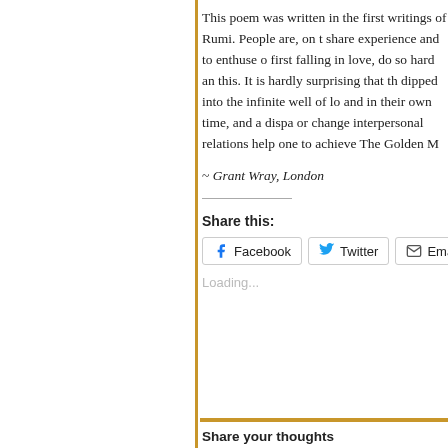This poem was written in the first writings of Rumi. People are, on the whole, eager to share experience and to enthuse one another. Those first falling in love, do so hard and enthusiastically this. It is hardly surprising that they have dipped into the infinite well of love, each in their own way and in their own time, and a disparity of ways to forge or change interpersonal relations... and to help one to achieve The Golden M...
~ Grant Wray, London
Share this:
Facebook  Twitter  Email
Loading...
Share your thoughts